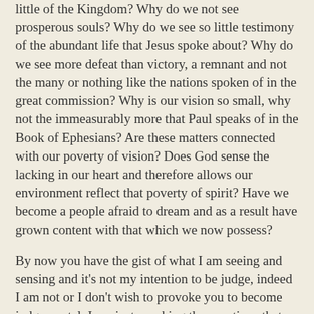little of the Kingdom? Why do we not see prosperous souls? Why do we see so little testimony of the abundant life that Jesus spoke about? Why do we see more defeat than victory, a remnant and not the many or nothing like the nations spoken of in the great commission? Why is our vision so small, why not the immeasurably more that Paul speaks of in the Book of Ephesians? Are these matters connected with our poverty of vision? Does God sense the lacking in our heart and therefore allows our environment reflect that poverty of spirit? Have we become a people afraid to dream and as a result have grown content with that which we now possess?
By now you have the gist of what I am seeing and sensing and it's not my intention to be judge, indeed I am not or I don't wish to provoke you to become judgemental. I am just speaking the questions that my heart is asking God.
In church now for almost a year the same prophetic words are being spoken over and over again. I divide these words into two categories or groups. One speaks of an outpouring of the Spirit amongst us (river flowing, rain falling, downpour